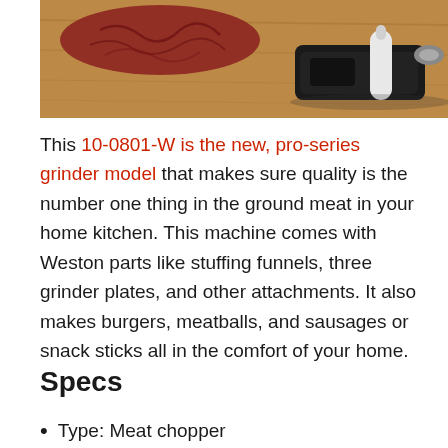[Figure (photo): Photo of a meat grinder/chopper on a wooden cutting board with ground meat visible, showing the black appliance with a white attachment]
This 10-0801-W is the new, pro-series grinder model that makes sure quality is the number one thing in the ground meat in your home kitchen. This machine comes with Weston parts like stuffing funnels, three grinder plates, and other attachments. It also makes burgers, meatballs, and sausages or snack sticks all in the comfort of your home.
Specs
Type: Meat chopper